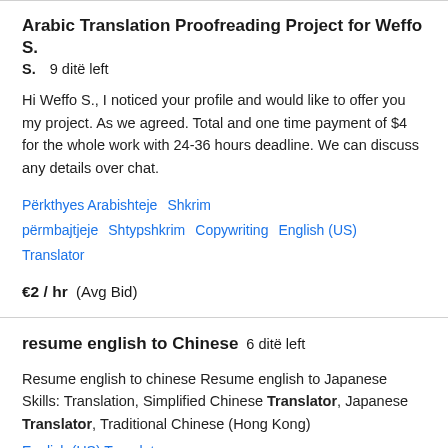Arabic Translation Proofreading Project for Weffo S.  9 ditë left
Hi Weffo S., I noticed your profile and would like to offer you my project. As we agreed. Total and one time payment of $4 for the whole work with 24-36 hours deadline. We can discuss any details over chat.
Përkthyes Arabishteje  Shkrim përmbajtjeje  Shtypshkrim  Copywriting  English (US) Translator
€2 / hr  (Avg Bid)
resume english to Chinese  6 ditë left
Resume english to chinese Resume english to Japanese Skills: Translation, Simplified Chinese Translator, Japanese Translator, Traditional Chinese (Hong Kong)
English (US) Translator